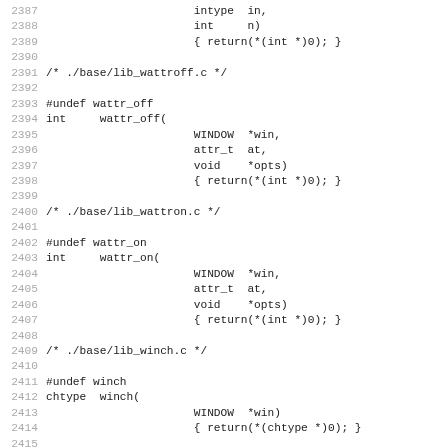Source code listing lines 2387-2419, showing C function stubs for wattr_off, wattr_on, winch, and _nc_synchook from ncurses library base files.